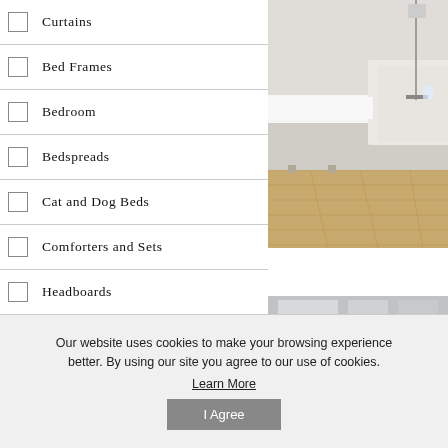Curtains
Bed Frames
Bedroom
Bedspreads
Cat and Dog Beds
Comforters and Sets
Headboards
Kids Bedroom
Mattress Toppers
[Figure (photo): White upholstered bed frame with light wood floor, modern bedroom setting]
Our website uses cookies to make your browsing experience better. By using our site you agree to our use of cookies. Learn More
I Agree